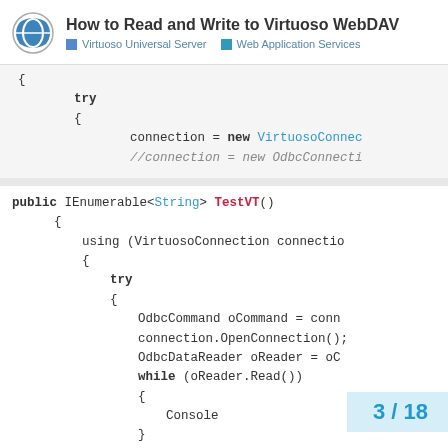How to Read and Write to Virtuoso WebDAV | Virtuoso Universal Server | Web Application Services
{
    try
    {
        connection = new VirtuosoConnec...
        //connection = new OdbcConnecti...
public IEnumerable<String> TestVT()
        {
            using (VirtuosoConnection connectio...
            {
                try
                {
                    OdbcCommand oCommand = conn...
                    connection.OpenConnection();
                    OdbcDataReader oReader = oC...
                    while (oReader.Read())
                    {
                        Console...
                    }
3 / 18